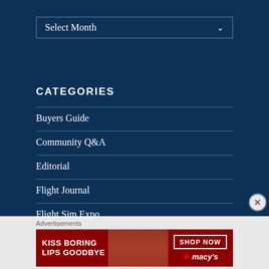Select Month
CATEGORIES
Buyers Guide
Community Q&A
Editorial
Flight Journal
Flight Sim Expo
Advertisements
[Figure (photo): Macy's lipstick advertisement banner showing a woman's face with red lips, text 'KISS BORING LIPS GOODBYE' and 'SHOP NOW' button with Macy's star logo]